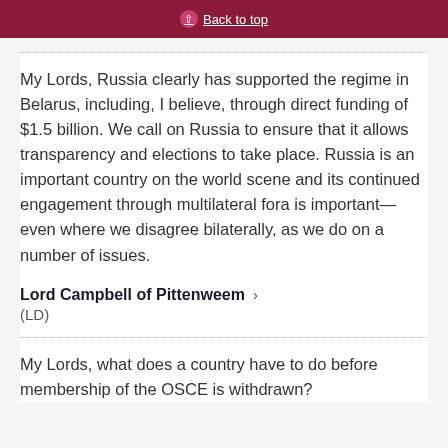Back to top
My Lords, Russia clearly has supported the regime in Belarus, including, I believe, through direct funding of $1.5 billion. We call on Russia to ensure that it allows transparency and elections to take place. Russia is an important country on the world scene and its continued engagement through multilateral fora is important—even where we disagree bilaterally, as we do on a number of issues.
Lord Campbell of Pittenweem (LD)
My Lords, what does a country have to do before membership of the OSCE is withdrawn?